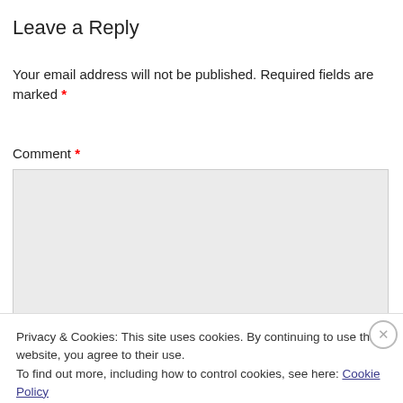Leave a Reply
Your email address will not be published. Required fields are marked *
Comment *
Privacy & Cookies: This site uses cookies. By continuing to use this website, you agree to their use.
To find out more, including how to control cookies, see here: Cookie Policy
Close and accept